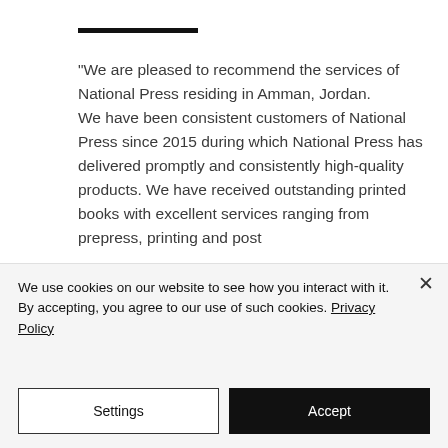“We are pleased to recommend the services of National Press residing in Amman, Jordan.
We have been consistent customers of National Press since 2015 during which National Press has delivered promptly and consistently high-quality products. We have received outstanding printed books with excellent services ranging from prepress, printing and post
We use cookies on our website to see how you interact with it. By accepting, you agree to our use of such cookies. Privacy Policy